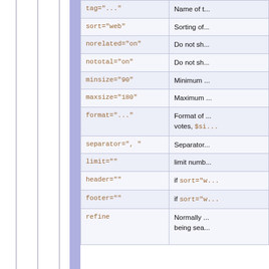| Parameter | Description |
| --- | --- |
| tag="..." | Name of t... |
| sort="web" | Sorting of... |
| norelated="on" | Do not sh... |
| nototal="on" | Do not sh... |
| minsize="90" | Minimum ... |
| maxsize="180" | Maximum ... |
| format="..." | Format of ... votes, $si... |
| separator=", " | Separator... |
| limit="" | limit numb... |
| header="" | if sort="w... |
| footer="" | if sort="w... |
| refine | Normally ... being sea... |
%TAGME{ tpaction="newtag"